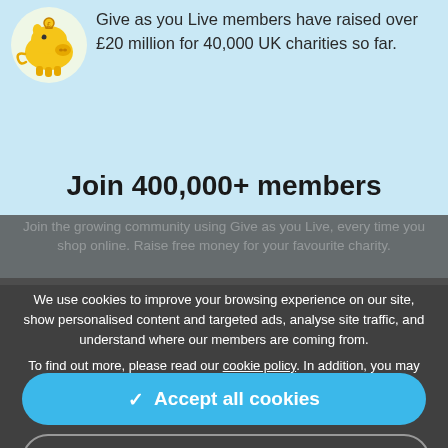[Figure (illustration): Yellow piggy bank icon on light blue background]
Give as you Live members have raised over £20 million for 40,000 UK charities so far.
Join 400,000+ members
We use cookies to improve your browsing experience on our site, show personalised content and targeted ads, analyse site traffic, and understand where our members are coming from.
To find out more, please read our cookie policy. In addition, you may wish to read our privacy policy and terms & conditions. By clicking "I accept", you consent to our use of cookies.
✓  Accept all cookies
⚙  Manage settings